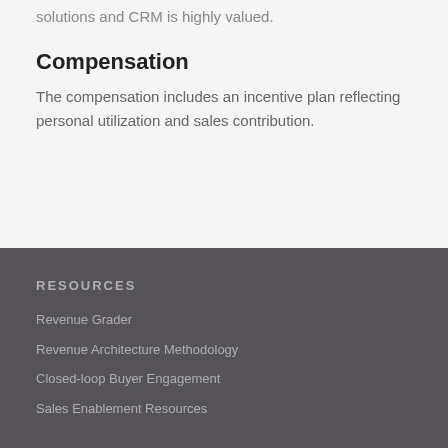solutions and CRM is highly valued.
Compensation
The compensation includes an incentive plan reflecting personal utilization and sales contribution.
RESOURCES
Revenue Grader
Revenue Architecture Methodology
Closed-loop Buyer Engagement
Sales Enablement Resources